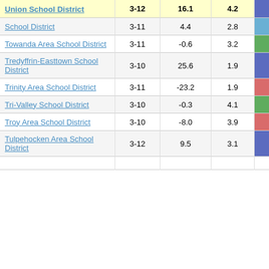| District | Grades | Col3 | Col4 | Score | Extra |
| --- | --- | --- | --- | --- | --- |
| Union School District | 3-12 | 16.1 | 4.2 | 3.86 |  |
| School District | 3-11 | 4.4 | 2.8 | 1.55 |  |
| Towanda Area School District | 3-11 | -0.6 | 3.2 | -0.18 |  |
| Tredyffrin-Easttown School District | 3-10 | 25.6 | 1.9 | 13.56 |  |
| Trinity Area School District | 3-11 | -23.2 | 1.9 | -12.18 |  |
| Tri-Valley School District | 3-10 | -0.3 | 4.1 | -0.08 |  |
| Troy Area School District | 3-10 | -8.0 | 3.9 | -2.07 |  |
| Tulpehocken Area School District | 3-12 | 9.5 | 3.1 | 3.03 |  |